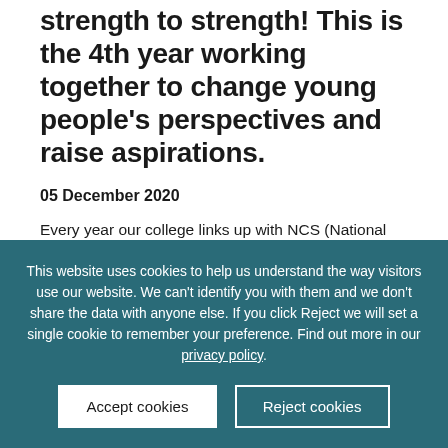strength to strength! This is the 4th year working together to change young people's perspectives and raise aspirations.
05 December 2020
Every year our college links up with NCS (National Citizen Service) to
This website uses cookies to help us understand the way visitors use our website. We can't identify you with them and we don't share the data with anyone else. If you click Reject we will set a single cookie to remember your preference. Find out more in our privacy policy.